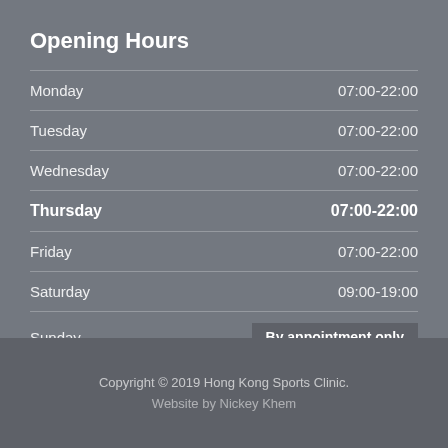Opening Hours
| Day | Hours |
| --- | --- |
| Monday | 07:00-22:00 |
| Tuesday | 07:00-22:00 |
| Wednesday | 07:00-22:00 |
| Thursday | 07:00-22:00 |
| Friday | 07:00-22:00 |
| Saturday | 09:00-19:00 |
| Sunday | By appointment only |
Copyright © 2019 Hong Kong Sports Clinic.
Website by Nickey Khem